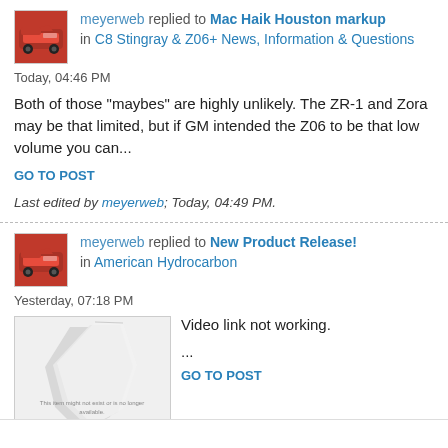meyerweb replied to Mac Haik Houston markup in C8 Stingray & Z06+ News, Information & Questions
Today, 04:46 PM
Both of those "maybes" are highly unlikely. The ZR-1 and Zora may be that limited, but if GM intended the Z06 to be that low volume you can...
GO TO POST
Last edited by meyerweb; Today, 04:49 PM.
meyerweb replied to New Product Release! in American Hydrocarbon
Yesterday, 07:18 PM
[Figure (screenshot): Broken media embed showing a torn paper graphic with text: This item might not exist or is no longer available.]
Video link not working.
...
GO TO POST